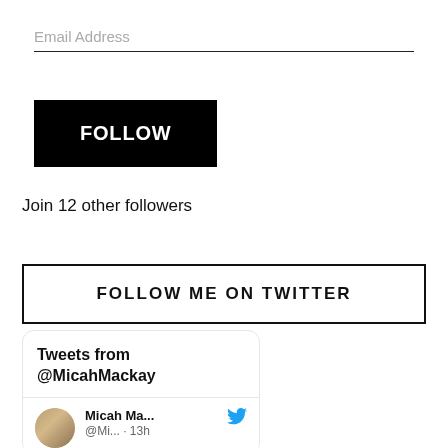Email Address
FOLLOW
Join 12 other followers
FOLLOW ME ON TWITTER
Tweets from @MicahMackay
Micah Ma... @Mi... · 13h